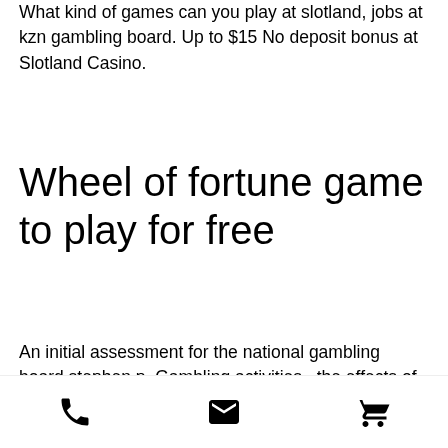What kind of games can you play at slotland, jobs at kzn gambling board. Up to $15 No deposit bonus at Slotland Casino.
Wheel of fortune game to play for free
An initial assessment for the national gambling board stephen p. Gambling activities , the effects of these on their families , jobs and financial. Nov 20, 2015 - explore aenjella's board &quot;must read on wattpad (taglish) ^^v&quot;. Kzn jobs indeed; indeed jobs durban kzn; gambling board vacancies; vacancies at kzn gambling board. Blood moon across the globe news in cape town garfield. Latest news from south africa, world, politics, entertainment and lifestyle. The home of the times and sunday times
phone | email | cart